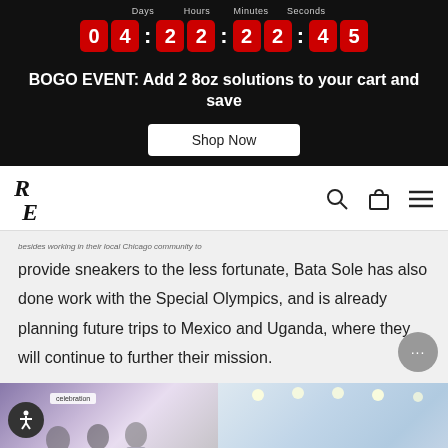[Figure (screenshot): Countdown timer showing 04:22:22:45 with labels Days, Hours, Minutes, Seconds on a dark background. Red digit boxes for each number.]
BOGO EVENT: Add 2 8oz solutions to your cart and save
Shop Now
[Figure (logo): Website navigation bar with 'RE' logo on the left and search, bag, and menu icons on the right]
besides working in their local Chicago community to provide sneakers to the less fortunate, Bata Sole has also done work with the Special Olympics, and is already planning future trips to Mexico and Uganda, where they will continue to further their mission.
[Figure (photo): Two side-by-side photos at the bottom: left shows people at what appears to be a community event with a banner, right shows an indoor venue/store with ceiling lights]